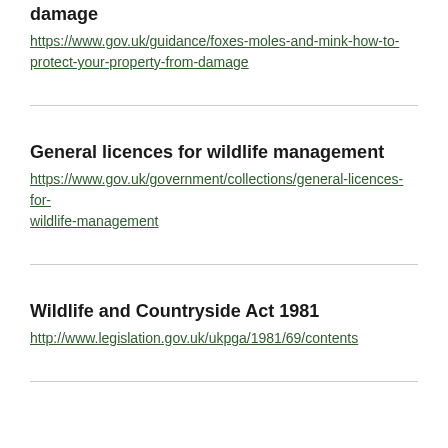damage
https://www.gov.uk/guidance/foxes-moles-and-mink-how-to-protect-your-property-from-damage
General licences for wildlife management
https://www.gov.uk/government/collections/general-licences-for-wildlife-management
Wildlife and Countryside Act 1981
http://www.legislation.gov.uk/ukpga/1981/69/contents